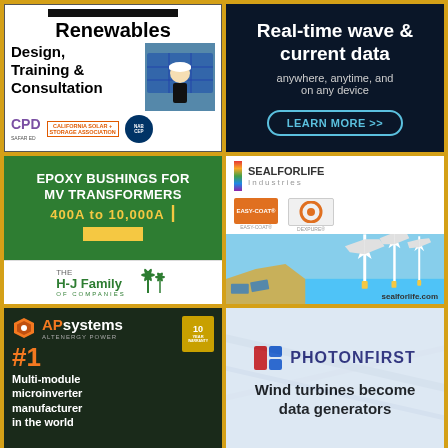[Figure (illustration): Advertisement for Renewables Design, Training & Consultation with CPD, California Solar + Storage Association, and NABCEP logos. Shows a person with solar panels.]
[Figure (illustration): Advertisement: Real-time wave & current data anywhere, anytime, and on any device. Dark navy background with LEARN MORE button.]
[Figure (illustration): Advertisement for Epoxy Bushings for MV Transformers, 400A to 10,000A. Green background. H-J Family of Companies logo below.]
[Figure (illustration): Advertisement for SealForLife Industries showing offshore wind turbines and solar panels. Logos for subsidiary brands. sealforlife.com]
[Figure (illustration): Advertisement for APsystems Altenergy Power. #1 Multi-module microinverter manufacturer in the world. 10-year badge. Orange and white text on dark background.]
[Figure (illustration): Advertisement for PhotonFirst: Wind turbines become data generators. Logo with red/blue icon on light blue background.]